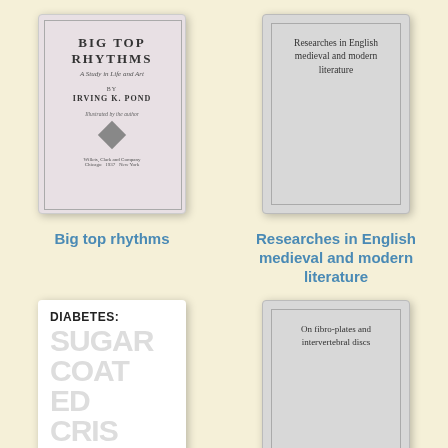[Figure (illustration): Book cover: Big Top Rhythms - A Study in Life and Art by Irving K. Pond, illustrated by the author, Willets, Clark and Company, Chicago 1937 New York]
Big top rhythms
[Figure (illustration): Book cover: Researches in English medieval and modern literature, plain gray cover with inner border]
Researches in English medieval and modern literature
[Figure (illustration): Book cover: Diabetes: Sugar Coated Crisis with large light gray text]
[Figure (illustration): Book cover: On fibro-plates and intervertebral discs, plain gray cover with inner border]